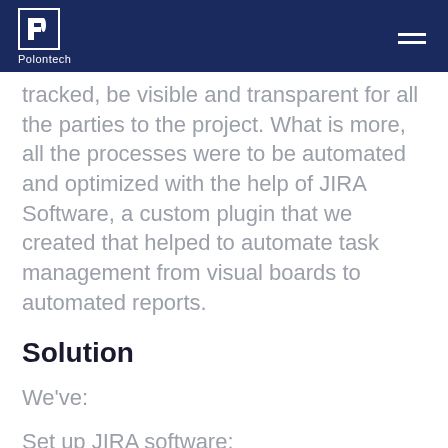Polontech
tracked, be visible and transparent for all the parties to the project. What is more, all the processes were to be automated and optimized with the help of JIRA Software, a custom plugin that we created that helped to automate task management from visual boards to automated reports.
Solution
We've:
Set up JIRA software: